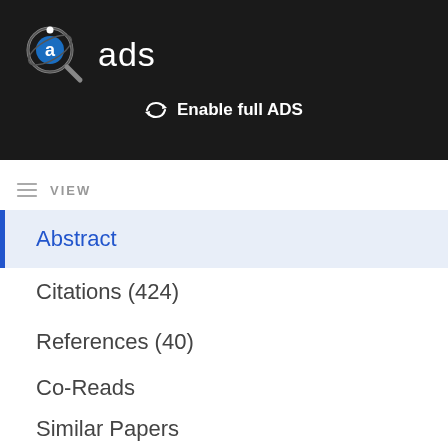[Figure (logo): ADS (Astrophysics Data System) logo — circular magnifier icon with letter 'a' in blue circle, next to text 'ads' in white on dark background]
Enable full ADS
VIEW
Abstract
Citations (424)
References (40)
Co-Reads
Similar Papers
Volume Content
Graphics